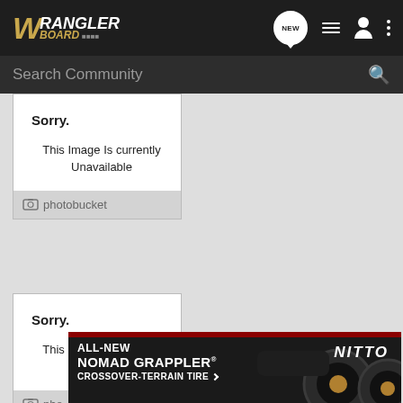[Figure (screenshot): WranglerBoard community forum website header with logo, navigation icons (NEW chat bubble, list icon, user icon, three-dot menu), and search bar]
[Figure (screenshot): Photobucket unavailable image placeholder card showing 'Sorry. This Image Is currently Unavailable' with photobucket logo footer]
[Figure (screenshot): Second Photobucket unavailable image placeholder card showing 'Sorry. This Image Is currently Unavailable' with photobucket logo footer]
[Figure (photo): Nitto Tires advertisement banner: 'ALL-NEW NOMAD GRAPPLER CROSSOVER-TERRAIN TIRE' with Nitto logo and tire/vehicle imagery]